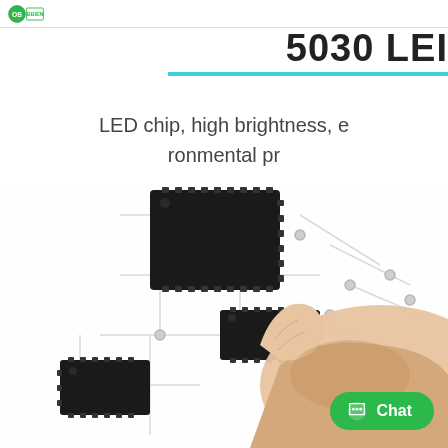[Figure (logo): Green circular logo with text ODDIEN or similar brand name]
5030 LED
LED chip, high brightness, environmental protection
[Figure (photo): A hand pointing at or touching a circuit board layout with multiple black IC chips connected by circuit traces on a white background]
Chat